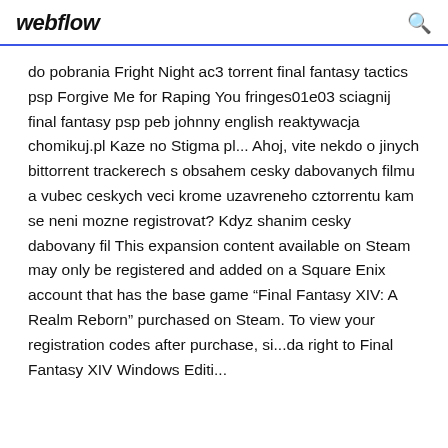webflow
do pobrania Fright Night ac3 torrent final fantasy tactics psp Forgive Me for Raping You fringes01e03 sciagnij final fantasy psp peb johnny english reaktywacja chomikuj.pl Kaze no Stigma pl... Ahoj, vite nekdo o jinych bittorrent trackerech s obsahem cesky dabovanych filmu a vubec ceskych veci krome uzavreneho cztorrentu kam se neni mozne registrovat? Kdyz shanim cesky dabovany fil This expansion content available on Steam may only be registered and added on a Square Enix account that has the base game “Final Fantasy XIV: A Realm Reborn” purchased on Steam. To view your registration codes after purchase, si...da right to Final Fantasy XIV Windows Editi...